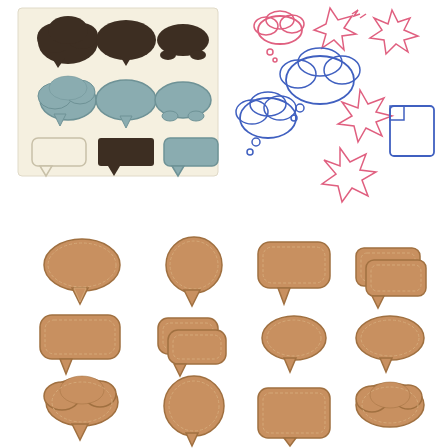[Figure (illustration): Collection of speech bubble and thought bubble clip art icons in various styles: top-left panel shows vintage-style bubbles in dark brown, teal/blue-grey, and white on cream background; top-right panel shows hand-drawn sketch-style bubbles in pink, blue, and outline; bottom section shows three rows of leather/tan stitched-style speech and thought bubbles in various shapes.]